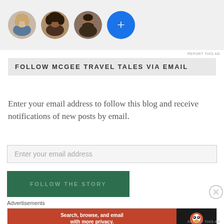[Figure (illustration): Row of three circular profile photo avatars and a blue plus button circle]
REPORT THIS AD
FOLLOW MCGEE TRAVEL TALES VIA EMAIL
Enter your email address to follow this blog and receive notifications of new posts by email.
Enter your email address
FOLLOW THE STORY
Advertisements
[Figure (screenshot): DuckDuckGo advertisement banner: 'Search, browse, and email with more privacy. All in One Free App' on orange background with DuckDuckGo logo on dark background]
REPORT THIS AD